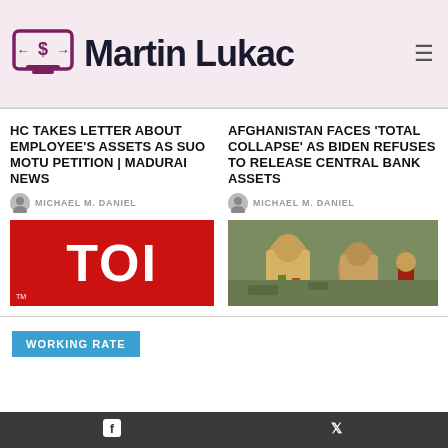[Figure (logo): Martin Lukac website header logo with laptop/dollar-sign icon and bold site name text on pink/rose background]
HC TAKES LETTER ABOUT EMPLOYEE'S ASSETS AS SUO MOTU PETITION | MADURAI NEWS
MICHAEL M. DANIEL
[Figure (photo): Times of India (TOI) logo - white letters on red background]
AFGHANISTAN FACES 'TOTAL COLLAPSE' AS BIDEN REFUSES TO RELEASE CENTRAL BANK ASSETS
MICHAEL M. DANIEL
[Figure (photo): Children in Afghanistan outdoors in colorful clothing]
WORKING RATE
Facebook  Twitter